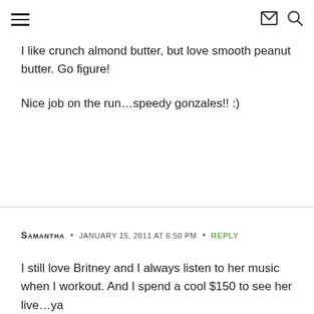≡  ✉  🔍
I like crunch almond butter, but love smooth peanut butter. Go figure!

Nice job on the run…speedy gonzales!! :)
SAMANTHA · JANUARY 15, 2011 AT 6:50 PM · REPLY
I still love Britney and I always listen to her music when I workout. And I spend a cool $150 to see her live…ya I'm that 28 year old.